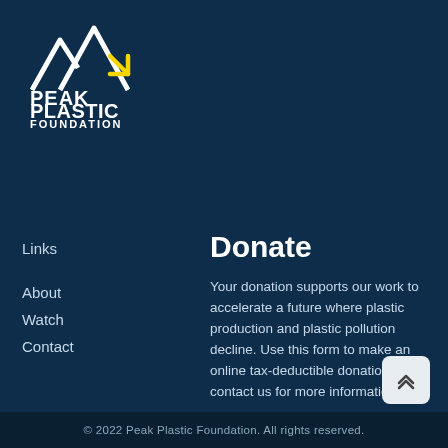[Figure (logo): Peak Plastic Foundation logo — white mountain/peak icon above bold white text 'PEAK PLASTIC FOUNDATION']
Links
About
Watch
Contact
Donate
Your donation supports our work to accelerate a future where plastic production and plastic pollution decline. Use this form to make an online tax-deductible donation, or contact us for more information.
DONATE
© 2022 Peak Plastic Foundation. All rights reserved.